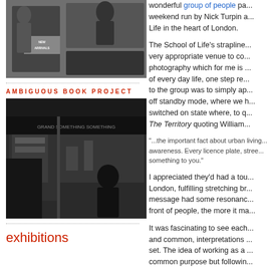[Figure (photo): Black and white photo collage showing people, with text 'NEW ARRIVALS' visible on what appears to be a book or magazine cover]
AMBIGUOUS BOOK PROJECT
[Figure (photo): Black and white street photography showing a storefront/bar/restaurant at night with a person in dark clothing outside]
exhibitions
wonderful group of people pa... weekend run by Nick Turpin a... Life in the heart of London.
The School of Life's strapline... very appropriate venue to co... photography which for me is ... of every day life, one step re... to the group was to simply ap... off standby mode, where we h... switched on state where, to q... The Territory quoting William...
"...the important fact about urban living... awareness. Every licence plate, stree... something to you."
I appreciated they'd had a tou... London, fulfilling stretching br... message had some resonanc... front of people, the more it ma...
It was fascinating to see each... and common, interpretations ... set. The idea of working as a ... common purpose but followin... and not one I've experienced...